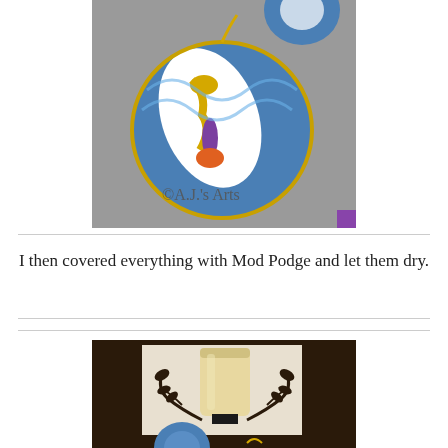[Figure (photo): Top-down photo of painted circular ceramic ornaments with blue crayon designs on a gray surface, watermarked with ©A.J.'s Arts]
I then covered everything with Mod Podge and let them dry.
[Figure (photo): Photo of a candle in a decorative black metal wall sconce with leaf vine design, with a blue circular ornament visible at bottom]